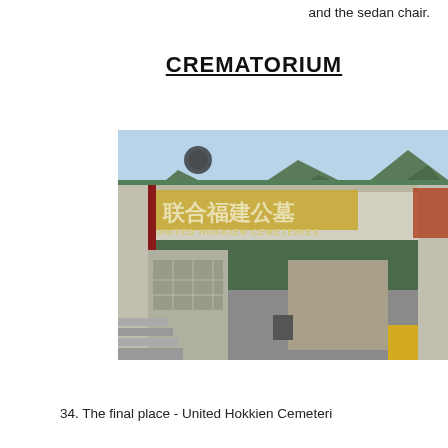and the sedan chair.
CREMATORIUM
[Figure (photo): Entrance gate of United Hokkien Cemeteries with Chinese characters and 'UNITED HOKKIEN CEMETERIES' text on the arch, traditional Chinese-style roof architecture, mountains in background]
34. The final place - United Hokkien Cemeteri